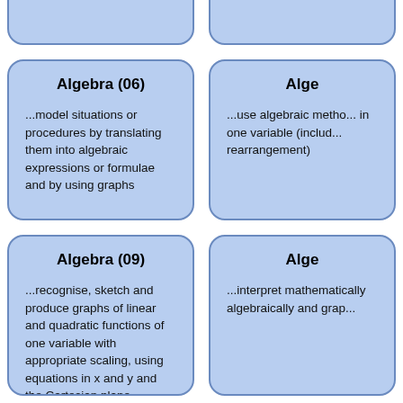- taking out common factors
- expanding products of...
(partial card, right column top)
Algebra (06)
...model situations or procedures by translating them into algebraic expressions or formulae and by using graphs
Alge...
...use algebraic methods... in one variable (includ... rearrangement)
Algebra (09)
...recognise, sketch and produce graphs of linear and quadratic functions of one variable with appropriate scaling, using equations in x and y and the Cartesian plane
Alge...
...interpret mathematically algebraically and grap...